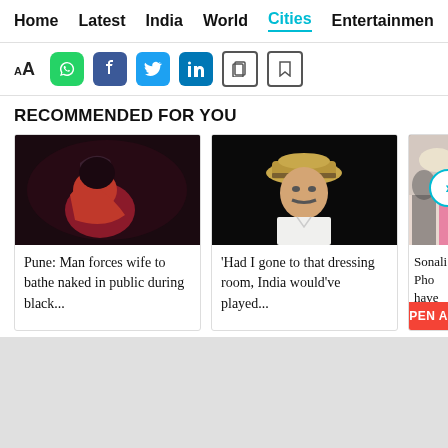Home  Latest  India  World  Cities  Entertainment
AA  [WhatsApp] [Facebook] [Twitter] [LinkedIn] [Copy] [Bookmark]
RECOMMENDED FOR YOU
[Figure (photo): Woman in red clothing, distressed, curled up - thumbnail for article about Pune man forcing wife to bathe naked in public]
Pune: Man forces wife to bathe naked in public during black...
[Figure (photo): Man wearing a hat, white shirt, dark background - thumbnail for article about India cricket dressing room]
'Had I gone to that dressing room, India would've played...
[Figure (photo): Partial thumbnail - people in indoor setting, for article about Sonali Phogat]
Sonali Pho have heart
OPEN APP